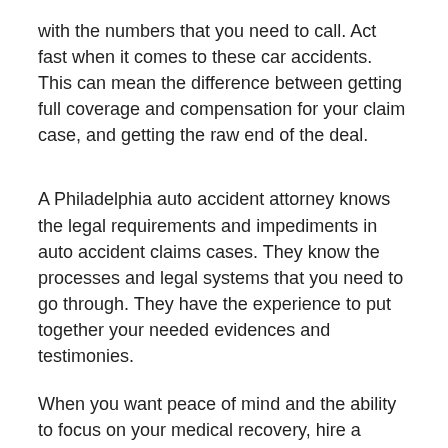with the numbers that you need to call. Act fast when it comes to these car accidents. This can mean the difference between getting full coverage and compensation for your claim case, and getting the raw end of the deal.
A Philadelphia auto accident attorney knows the legal requirements and impediments in auto accident claims cases. They know the processes and legal systems that you need to go through. They have the experience to put together your needed evidences and testimonies.
When you want peace of mind and the ability to focus on your medical recovery, hire a Philadelphia car accident lawyer to help you out.